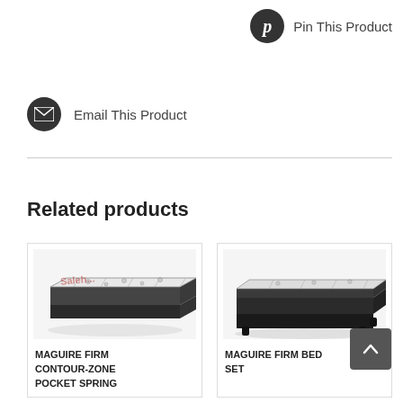Pin This Product
Email This Product
Related products
[Figure (photo): Product image of Maguire Firm Contour-Zone Pocket Spring mattress, with watermark]
MAGUIRE FIRM CONTOUR-ZONE POCKET SPRING
[Figure (photo): Product image of Maguire Firm Bed Set, dark bed base with mattress]
MAGUIRE FIRM BED SET